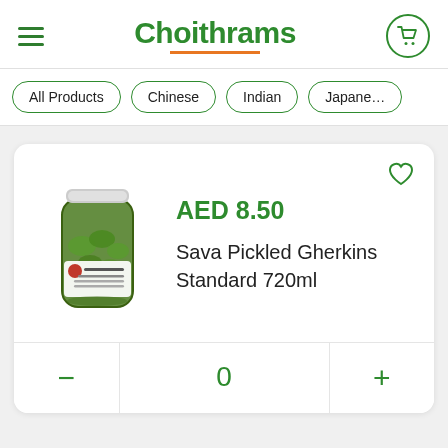Choithrams
All Products
Chinese
Indian
Japanese
AED 8.50
[Figure (photo): Jar of Sava Pickled Gherkins Standard 720ml]
Sava Pickled Gherkins Standard 720ml
0